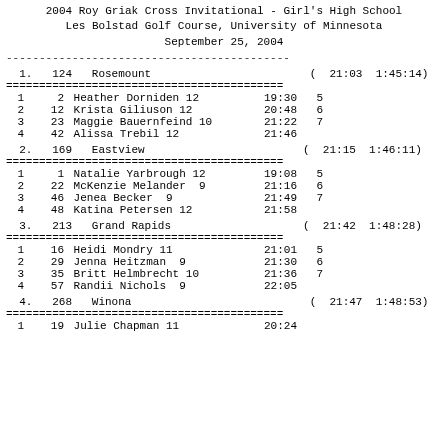2004 Roy Griak Cross Invitational - Girl's High School
Les Bolstad Golf Course, University of Minnesota
September 25, 2004
| Place | Bib | Name | Time | Pts |
| --- | --- | --- | --- | --- |
| 1. | 124 | Rosemount | ( 21:03  1:45:14) |
| 1 | 2 | Heather Dorniden 12 | 19:30 | 5 |
| 2 | 12 | Krista Giliuson 12 | 20:48 | 6 |
| 3 | 23 | Maggie Bauernfeind 10 | 21:22 | 7 |
| 4 | 42 | Alissa Trebil 12 | 21:46 |  |
| 2. | 169 | Eastview | ( 21:15  1:46:11) |
| 1 | 1 | Natalie Yarbrough 12 | 19:08 | 5 |
| 2 | 22 | McKenzie Melander  9 | 21:16 | 6 |
| 3 | 46 | Jenea Becker  9 | 21:49 | 7 |
| 4 | 48 | Katina Petersen 12 | 21:58 |  |
| 3. | 213 | Grand Rapids | ( 21:42  1:48:28) |
| 1 | 16 | Heidi Mondry 11 | 21:01 | 5 |
| 2 | 29 | Jenna Heitzman  9 | 21:30 | 6 |
| 3 | 35 | Britt Helmbrecht 10 | 21:36 | 7 |
| 4 | 57 | Randii Nichols  9 | 22:05 |  |
| 4. | 268 | Winona | ( 21:47  1:48:53) |
| 1 | 19 | Julie Chapman 11 | 20:24 |  |